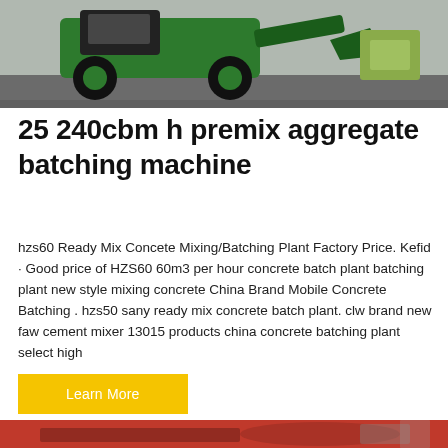[Figure (photo): Green industrial loader / wheel loader machine photographed outdoors on a construction site, with large tires and a front bucket attachment.]
25 240cbm h premix aggregate batching machine
hzs60 Ready Mix Concete Mixing/Batching Plant Factory Price. Kefid · Good price of HZS60 60m3 per hour concrete batch plant batching plant new style mixing concrete China Brand Mobile Concrete Batching . hzs50 sany ready mix concrete batch plant. clw brand new faw cement mixer 13015 products china concrete batching plant select high
[Figure (photo): Red concrete mixer drum / batching machine equipment photographed outdoors, with construction machinery visible in the background.]